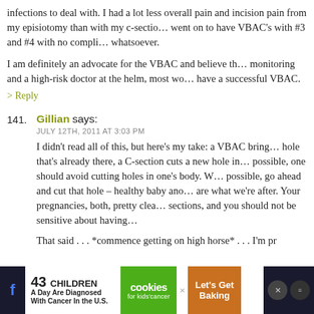infections to deal with. I had a lot less overall pain and incision pain from my episiotomy than with my c-section. I went on to have VBAC's with #3 and #4 with no complications whatsoever.
I am definitely an advocate for the VBAC and believe that with monitoring and a high-risk doctor at the helm, most women can have a successful VBAC.
> Reply
141. Gillian says:
JULY 12TH, 2011 AT 3:03 PM
I didn't read all of this, but here's my take: a VBAC brings a baby through a hole that's already there, a C-section cuts a new hole in you. When possible, one should avoid cutting holes in one's body. When it's not possible, go ahead and cut that hole – healthy baby and healthy mama are what we're after. Your pregnancies, both, pretty clearly needed c-sections, and you should not be sensitive about having them.
That said . . . *commence getting on high horse* . . . I'm pr
[Figure (advertisement): Ad banner: 43 CHILDREN A Day Are Diagnosed With Cancer in the U.S. — cookies for kids' cancer — Let's Get Baking]